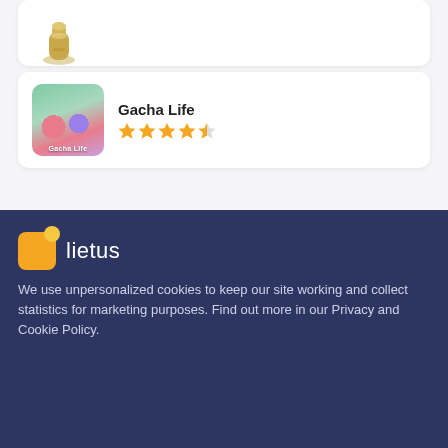[Figure (illustration): Partial view of a product card showing a bottle/trophy shaped item icon at the top, cut off]
[Figure (illustration): Gacha Life app icon showing anime-style characters with pink and purple hair]
Gacha Life
[Figure (infographic): Star rating showing 4.5 out of 5 stars in gold/orange color]
[Figure (logo): Lietus logo - orange square icon with yellow circle dot and word 'lietus' in white]
We use unpersonalized cookies to keep our site working and collect statistics for marketing purposes. Find out more in our Privacy and Cookie Policy.
[Figure (infographic): Popup banner: HELP UKRAINE - MAKE A DONATION with orange Donate button, overlaid on dark war/fire background image]
HELP UKRAINE - MAKE A DONATION
Donate